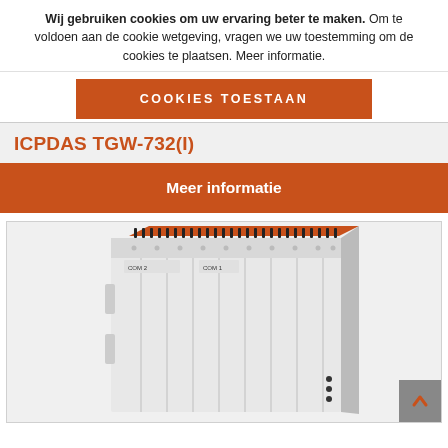Wij gebruiken cookies om uw ervaring beter te maken. Om te voldoen aan de cookie wetgeving, vragen we uw toestemming om de cookies te plaatsen. Meer informatie.
COOKIES TOESTAAN
ICPDAS TGW-732(I)
Meer informatie
[Figure (photo): Photo of ICPDAS TGW-732(I) industrial gateway device, white DIN-rail mountable enclosure with orange terminal block connectors on top, shown at an angle]